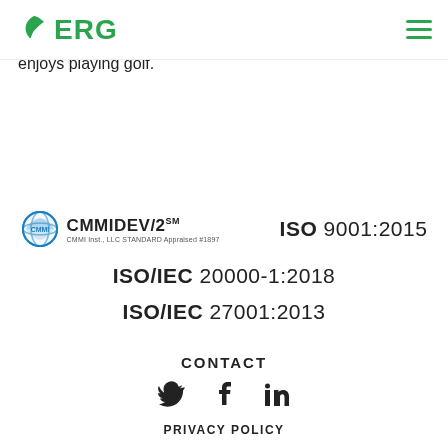ERG (logo with leaf icon and hamburger menu)
volunteer coach for football, baseball, and softball for more than 10 years—when spare time is available—enjoys playing golf.
[Figure (logo): CMMI DEV/2 certification logo with globe icon]
ISO 9001:2015
ISO/IEC 20000-1:2018
ISO/IEC 27001:2013
CONTACT
[Figure (other): Social media icons: Twitter, Facebook, LinkedIn]
PRIVACY POLICY